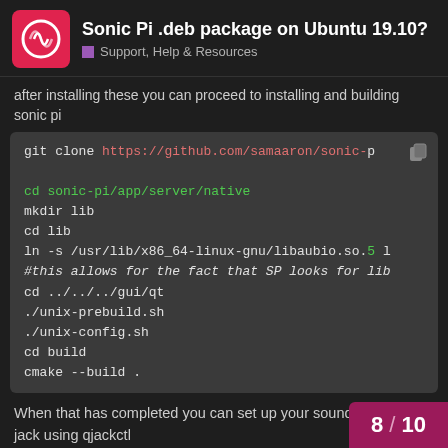Sonic Pi .deb package on Ubuntu 19.10? | Support, Help & Resources
after installing these you can proceed to installing and building sonic pi
[Figure (screenshot): Code block showing terminal commands: git clone https://github.com/samaaron/sonic-pi, cd sonic-pi/app/server/native, mkdir lib, cd lib, ln -s /usr/lib/x86_64-linux-gnu/libaubio.so.5 l, #this allows for the fact that SP looks for lib, cd ../../../gui/qt, ./unix-prebuild.sh, ./unix-config.sh, cd build, cmake --build .]
When that has completed you can set up your sound card for jack using qjackctl
then ./sonic-pi from the build folder to
8 / 10